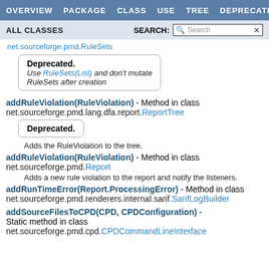OVERVIEW   PACKAGE   CLASS   USE   TREE   DEPRECATED
ALL CLASSES   SEARCH: Search
net.sourceforge.pmd.RuleSets
Deprecated. Use RuleSets(List) and don't mutate RuleSets after creation
addRuleViolation(RuleViolation) - Method in class net.sourceforge.pmd.lang.dfa.report.ReportTree
Deprecated.
Adds the RuleViolation to the tree.
addRuleViolation(RuleViolation) - Method in class net.sourceforge.pmd.Report
Adds a new rule violation to the report and notify the listeners.
addRunTimeError(Report.ProcessingError) - Method in class net.sourceforge.pmd.renderers.internal.sarif.SarifLogBuilder
addSourceFilesToCPD(CPD, CPDConfiguration) - Static method in class net.sourceforge.pmd.cpd.CPDCommandLineInterface